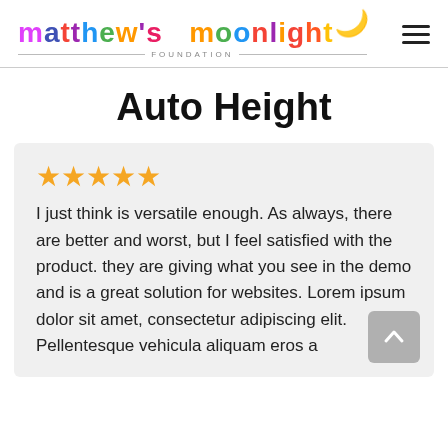[Figure (logo): Matthew's Moonlight Foundation colorful handwritten logo with a crescent moon, horizontal lines and FOUNDATION text below]
Auto Height
★★★★★
I just think is versatile enough. As always, there are better and worst, but I feel satisfied with the product. they are giving what you see in the demo and is a great solution for websites. Lorem ipsum dolor sit amet, consectetur adipiscing elit. Pellentesque vehicula aliquam eros a